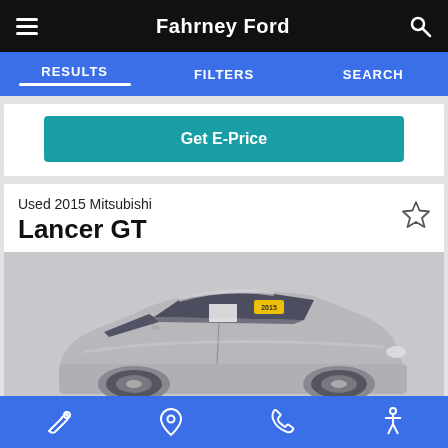Fahrney Ford
RESULTS   FILTERS   SEARCH
Get E-Price
Used 2015 Mitsubishi Lancer GT
[Figure (photo): Silver 2015 Mitsubishi Lancer GT sedan, side 3/4 front view, with yellow dealer sticker on windshield, photographed in a studio/indoor setting]
Wrench icon, Location pin icon, Phone icon, Accessibility icon